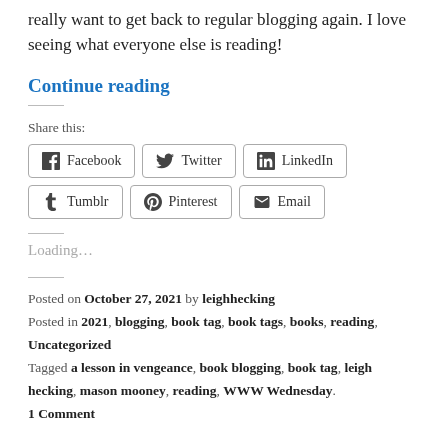really want to get back to regular blogging again. I love seeing what everyone else is reading!
Continue reading
Share this:
Facebook
Twitter
LinkedIn
Tumblr
Pinterest
Email
Loading...
Posted on October 27, 2021 by leighhecking
Posted in 2021, blogging, book tag, book tags, books, reading, Uncategorized
Tagged a lesson in vengeance, book blogging, book tag, leigh hecking, mason mooney, reading, WWW Wednesday.
1 Comment